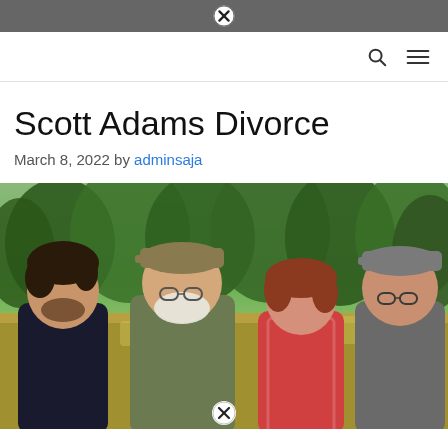✕
Scott Adams Divorce
March 8, 2022 by adminsaja
[Figure (photo): Four people standing outdoors in a field or meadow with trees in the background. From left to right: a younger man with dark hair and beard wearing a dark shirt; an older man with white beard wearing a cap and olive/khaki shirt; a woman with reddish-brown hair in a patterned top; a younger man with glasses wearing a grey cap and grey shirt.]